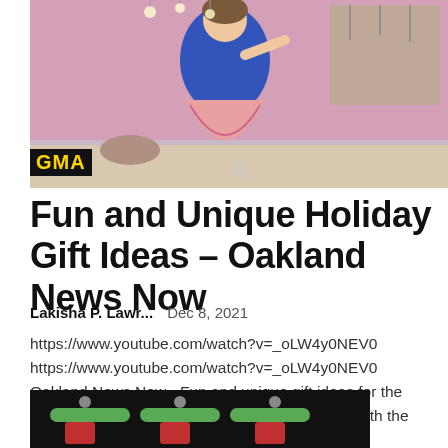[Figure (photo): Woman in blue top and floral skirt in a kitchen setting, GMA logo in lower left]
Fun and Unique Holiday Gift Ideas – Oakland News Now
Lakisha P. Lawr...   Dec 8, 2021
https://www.youtube.com/watch?v=_oLW4y0NEV0 https://www.youtube.com/watch?v=_oLW4y0NEV0 Oakland News Now - Fun and unique gift ideas for the holidays - video made by the YouTube channel with the logo in the upper left corner of the...
[Figure (photo): Green industrial valves or pipes on a dark background, partially visible]